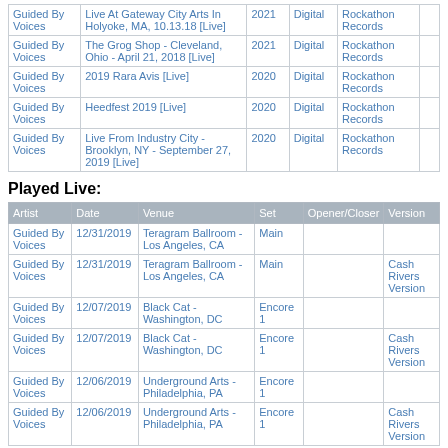| Artist | Title | Year | Format | Label |  |
| --- | --- | --- | --- | --- | --- |
| Guided By Voices | Live At Gateway City Arts In Holyoke, MA, 10.13.18 [Live] | 2021 | Digital | Rockathon Records |  |
| Guided By Voices | The Grog Shop - Cleveland, Ohio - April 21, 2018 [Live] | 2021 | Digital | Rockathon Records |  |
| Guided By Voices | 2019 Rara Avis [Live] | 2020 | Digital | Rockathon Records |  |
| Guided By Voices | Heedfest 2019 [Live] | 2020 | Digital | Rockathon Records |  |
| Guided By Voices | Live From Industry City - Brooklyn, NY - September 27, 2019 [Live] | 2020 | Digital | Rockathon Records |  |
Played Live:
| Artist | Date | Venue | Set | Opener/Closer | Version |
| --- | --- | --- | --- | --- | --- |
| Guided By Voices | 12/31/2019 | Teragram Ballroom - Los Angeles, CA | Main |  |  |
| Guided By Voices | 12/31/2019 | Teragram Ballroom - Los Angeles, CA | Main |  | Cash Rivers Version |
| Guided By Voices | 12/07/2019 | Black Cat - Washington, DC | Encore 1 |  |  |
| Guided By Voices | 12/07/2019 | Black Cat - Washington, DC | Encore 1 |  | Cash Rivers Version |
| Guided By Voices | 12/06/2019 | Underground Arts - Philadelphia, PA | Encore 1 |  |  |
| Guided By Voices | 12/06/2019 | Underground Arts - Philadelphia, PA | Encore 1 |  | Cash Rivers Version |